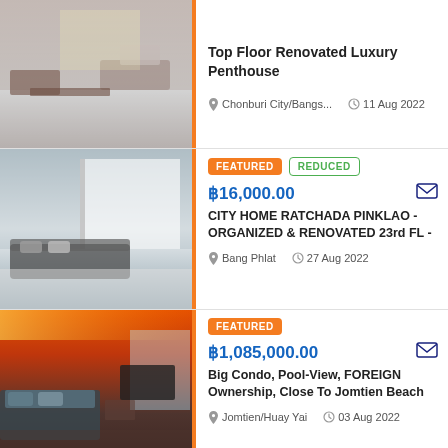[Figure (photo): Interior photo of a luxury penthouse living room with marble floors and modern furniture]
Top Floor Renovated Luxury Penthouse
Chonburi City/Bangs...   11 Aug 2022
[Figure (photo): Interior photo of a modern apartment living room with sofa and white curtains]
FEATURED   REDUCED
฿16,000.00
CITY HOME RATCHADA PINKLAO - ORGANIZED & RENOVATED 23rd FL -
Bang Phlat   27 Aug 2022
[Figure (photo): Interior photo of a condo bedroom/living area with pool view and warm lighting]
FEATURED
฿1,085,000.00
Big Condo, Pool-View, FOREIGN Ownership, Close To Jomtien Beach
Jomtien/Huay Yai   03 Aug 2022
[Figure (photo): Partial view of a fourth listing with warm orange tones]
FEATURED